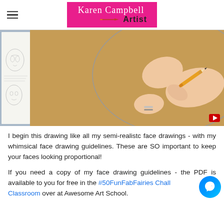Karen Campbell Artist
[Figure (photo): A person's hand drawing an oval/face guideline with a pencil on kraft brown paper. A sketchbook with anime-style face drawings is visible on the left side, and a colorful painted board is visible on the right. A YouTube play button icon appears in the bottom right of the image.]
I begin this drawing like all my semi-realistc face drawings - with my whimsical face drawing guidelines. These are SO important to keep your faces looking proportional!
If you need a copy of my face drawing guidelines - the PDF is available to you for free in the #50FunFabFairies Challenge Classroom over at Awesome Art School.